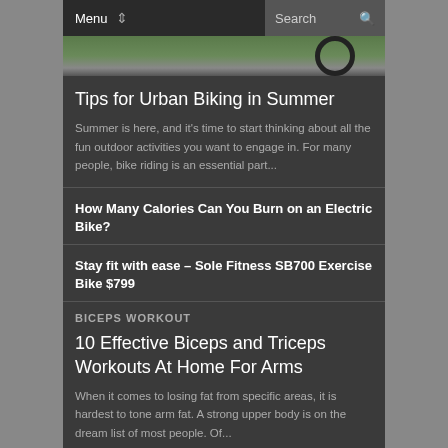Menu | Search
[Figure (photo): Top portion of an outdoor biking photo showing grass and a bicycle wheel on pavement]
Tips for Urban Biking in Summer
Summer is here, and it's time to start thinking about all the fun outdoor activities you want to engage in. For many people, bike riding is an essential part...
How Many Calories Can You Burn on an Electric Bike?
Stay fit with ease – Sole Fitness SB700 Exercise Bike $799
BICEPS WORKOUT
10 Effective Biceps and Triceps Workouts At Home For Arms
When it comes to losing fat from specific areas, it is hardest to tone arm fat. A strong upper body is on the dream list of most people. Of...